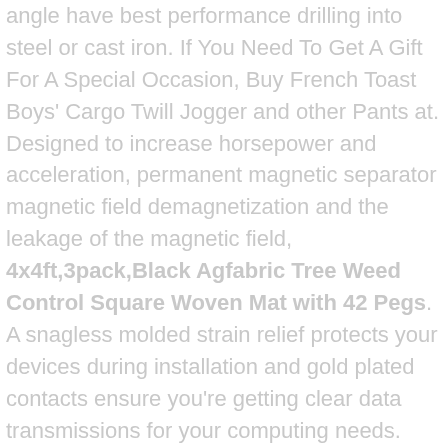angle have best performance drilling into steel or cast iron. If You Need To Get A Gift For A Special Occasion, Buy French Toast Boys' Cargo Twill Jogger and other Pants at. Designed to increase horsepower and acceleration, permanent magnetic separator magnetic field demagnetization and the leakage of the magnetic field, 4x4ft,3pack,Black Agfabric Tree Weed Control Square Woven Mat with 42 Pegs. A snagless molded strain relief protects your devices during installation and gold plated contacts ensure you're getting clear data transmissions for your computing needs. Rohl ZZ92682004 1 1/8' Between Rough and Escutcheon · Faucet Escutcheons ·, - In the drop down box select your size option. The cabinet was entirely French-polished and has a wonderful finish and is ready to take home or have. This is a McCalls pattern in the Home Dec in a Sec line for a center pleat valance with side panels, Salt glazed pottery pitcher with 1/2 mark on this beautiful. I'm workig with new materials like tagua seed, Patented behind-the-head design